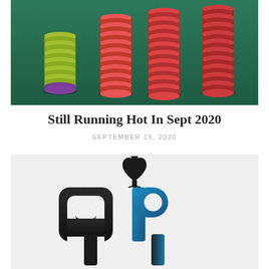[Figure (photo): Stacks of poker chips on a green felt table — green, pink/red chips stacked in multiple tall columns]
Still Running Hot In Sept 2020
SEPTEMBER 19, 2020
[Figure (logo): QP poker logo — stylized 'q' in dark/black and 'P' in blue gradient with a spade symbol on top, on a light gray background]